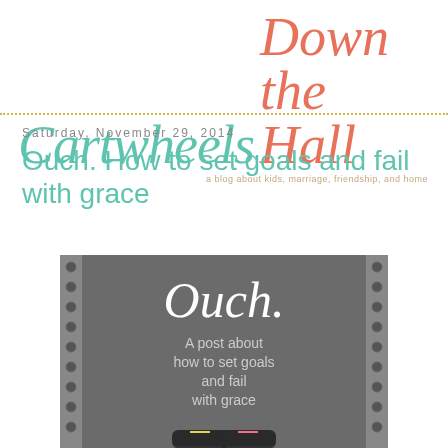Cartwheels Down the Hall — a blog about kids, marriage, friendship, and home
Saturday, November 29, 2014
Ouch. How to set goals and fail with grace
[Figure (photo): Chalkboard-style image with running shoes at the bottom. White script text reads 'Ouch.' and below in lighter text 'A post about how to set goals and fail with grace'. The image has a dark grey background with metallic riveted border elements on the sides.]